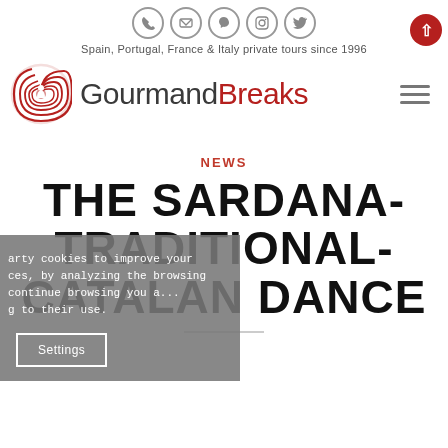Spain, Portugal, France & Italy private tours since 1996
[Figure (logo): GourmandBreaks logo with red spiral icon and brand name in dark grey and red]
NEWS
THE SARDANA- TRADITIONAL- CATALAN DANCE
...arty cookies to improve your ...ces, by analyzing the browsing ...continue browsing you a... ...g to their use.
Settings